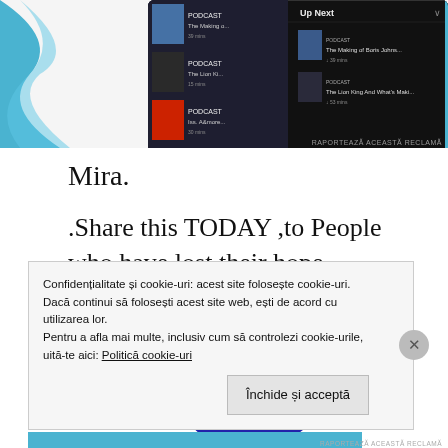[Figure (screenshot): Podcast/streaming app UI screenshot showing 'Up Next' queue with items 'The Making of Boris Johnson' and 'The Lion King And What's Maki...' on a dark background, with partial blue curved graphic on the left]
Mira.
.Share this TODAY ,to People who have lost their hope...
[Figure (photo): Blue painted handprint on white/light background]
Confidențialitate și cookie-uri: acest site folosește cookie-uri. Dacă continui să folosești acest site web, ești de acord cu utilizarea lor.
Pentru a afla mai multe, inclusiv cum să controlezi cookie-urile, uită-te aici: Politică cookie-uri
Închide și acceptă